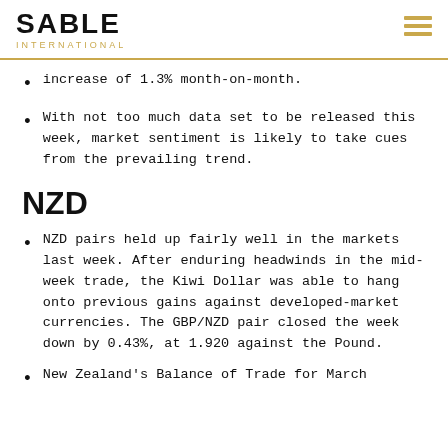SABLE INTERNATIONAL
increase of 1.3% month-on-month.
With not too much data set to be released this week, market sentiment is likely to take cues from the prevailing trend.
NZD
NZD pairs held up fairly well in the markets last week. After enduring headwinds in the mid-week trade, the Kiwi Dollar was able to hang onto previous gains against developed-market currencies. The GBP/NZD pair closed the week down by 0.43%, at 1.920 against the Pound.
New Zealand's Balance of Trade for March